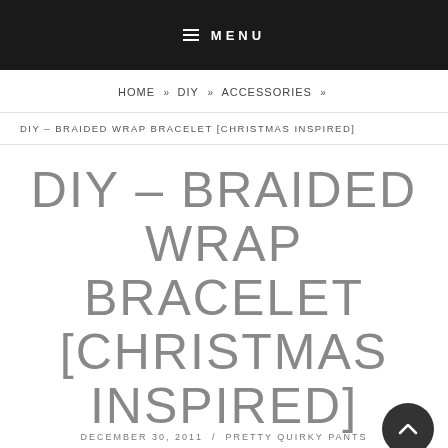≡ MENU
HOME » DIY » ACCESSORIES »
DIY – BRAIDED WRAP BRACELET [CHRISTMAS INSPIRED]
DIY – BRAIDED WRAP BRACELET [CHRISTMAS INSPIRED]
DECEMBER 30, 2011 / PRETTY QUIRKY PANTS